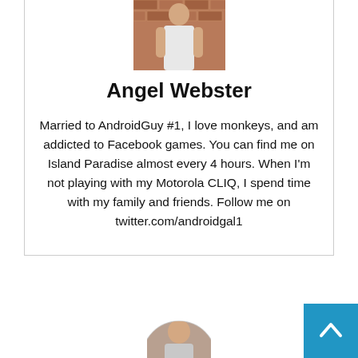[Figure (photo): Profile photo of Angel Webster, a woman in a light-colored top standing in front of a brick wall]
Angel Webster
Married to AndroidGuy #1, I love monkeys, and am addicted to Facebook games. You can find me on Island Paradise almost every 4 hours. When I'm not playing with my Motorola CLIQ, I spend time with my family and friends. Follow me on twitter.com/androidgal1
[Figure (photo): Partial circular profile image visible at bottom center of page]
[Figure (other): Blue back-to-top button with upward arrow in the bottom right corner]